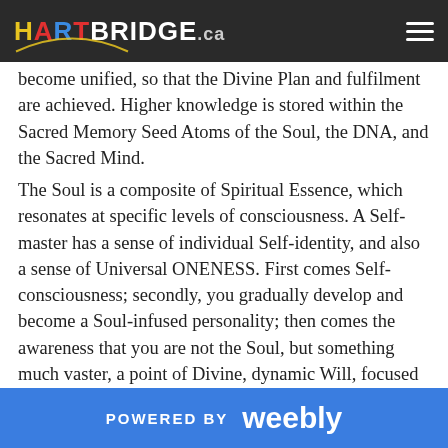HARTBRIDGE.ca
become unified, so that the Divine Plan and fulfilment are achieved. Higher knowledge is stored within the Sacred Memory Seed Atoms of the Soul, the DNA, and the Sacred Mind.
The Soul is a composite of Spiritual Essence, which resonates at specific levels of consciousness. A Self-master has a sense of individual Self-identity, and also a sense of Universal ONENESS. First comes Self-consciousness; secondly, you gradually develop and become a Soul-infused personality; then comes the awareness that you are not the Soul, but something much vaster, a point of Divine, dynamic Will, focused on the Soul, this is the individualized God-Seed Atom, which directly OverLights the Soul Self form. This is the moment of an awareness of BEING, not becoming. The
POWERED BY weebly